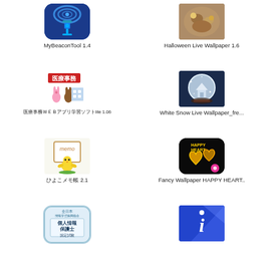[Figure (screenshot): MyBeaconTool app icon - blue background with wrench/signal graphic]
MyBeaconTool 1.4
[Figure (screenshot): Halloween Live Wallpaper app icon - photo of animal]
Halloween Live Wallpaper 1.6
[Figure (screenshot): Medical app icon with Japanese red banner and cartoon characters]
医療事務ＷＥＢアプリ学習ソフトlite 1.06
[Figure (screenshot): White Snow Live Wallpaper icon - crystal ball with snow scene]
White Snow Live Wallpaper_fre...
[Figure (screenshot): Memo app icon - chick holding memo sign]
ひよこメモ帳 2.1
[Figure (screenshot): Fancy Wallpaper HAPPY HEART app icon - golden hearts on black]
Fancy Wallpaper HAPPY HEART..
[Figure (screenshot): Personal Information Protection exam app icon with Japanese text]
[Figure (screenshot): Info app icon - blue background with italic i]